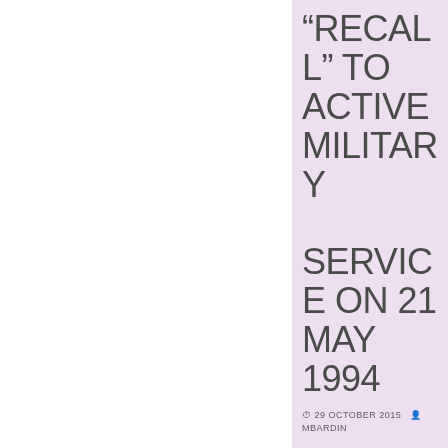“RECALL” TO ACTIVE MILITARY SERVICE ON 21 MAY 1994
29 OCTOBER 2015  MBARDIN
Annexe 113 (.pdf – 108 Ko)